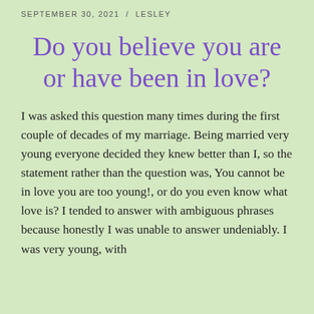SEPTEMBER 30, 2021 / LESLEY
Do you believe you are or have been in love?
I was asked this question many times during the first couple of decades of my marriage. Being married very young everyone decided they knew better than I, so the statement rather than the question was, You cannot be in love you are too young!, or do you even know what love is? I tended to answer with ambiguous phrases because honestly I was unable to answer undeniably. I was very young, with